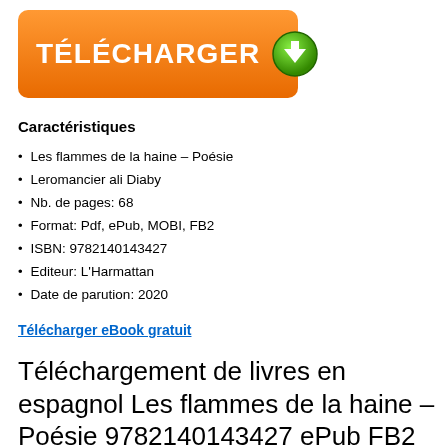[Figure (other): Orange download button with white bold text 'TÉLÉCHARGER' and a green download arrow icon]
Caractéristiques
Les flammes de la haine – Poésie
Leromancier ali Diaby
Nb. de pages: 68
Format: Pdf, ePub, MOBI, FB2
ISBN: 9782140143427
Editeur: L'Harmattan
Date de parution: 2020
Télécharger eBook gratuit
Téléchargement de livres en espagnol Les flammes de la haine – Poésie 9782140143427 ePub FB2 RTF